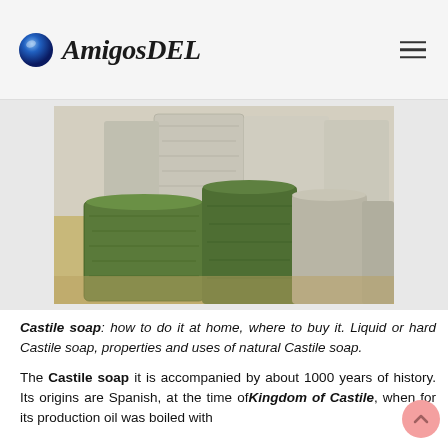AmigosDEL
[Figure (photo): Blocks of Castile soap arranged on a surface, showing green and grey-white textured bars stacked together.]
Castile soap: how to do it at home, where to buy it. Liquid or hard Castile soap, properties and uses of natural Castile soap.
The Castile soap it is accompanied by about 1000 years of history. Its origins are Spanish, at the time of Kingdom of Castile, when for its production oil was boiled with